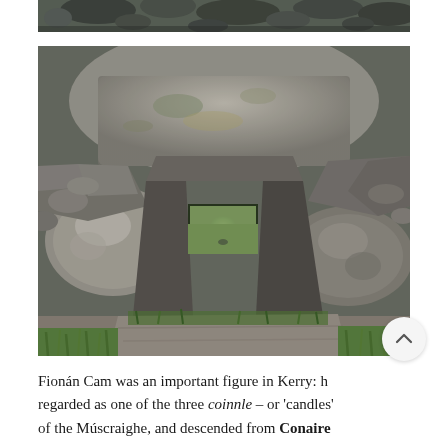[Figure (photo): Partial cropped photo at top showing dark grey stones and rocks, bottom portion of a stone structure with rounded dark stones visible.]
[Figure (photo): A stone passage or souterrain entrance viewed from inside, with large flat megalithic stones forming walls and a low lintel, green grass visible outside the narrow tunnel opening. The structure appears to be an ancient Irish stone monument or beehive hut entrance.]
Fionán Cam was an important figure in Kerry: he regarded as one of the three coinnle – or 'candles' of the Múscraighe, and descended from Conaire